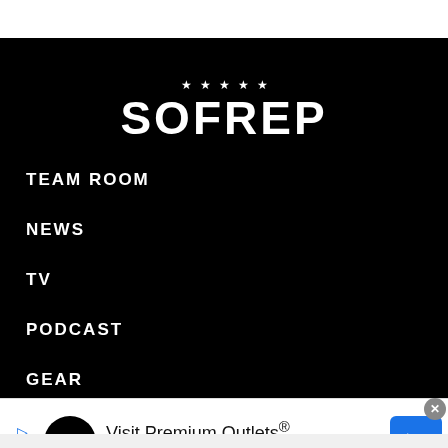[Figure (logo): SOFREP logo with stars above text on black background]
TEAM ROOM
NEWS
TV
PODCAST
GEAR
[Figure (infographic): Advertisement banner: Visit Premium Outlets® Leesburg Premium Outlets with logo circle and blue arrow road sign icon]